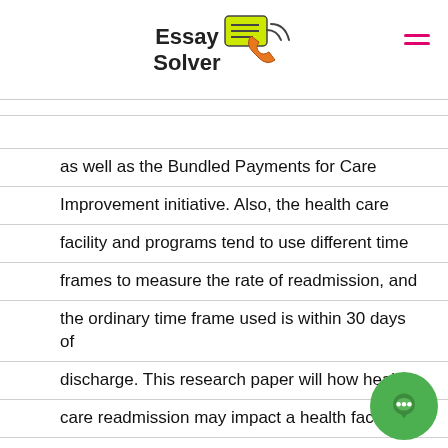Essay Solver
as well as the Bundled Payments for Care Improvement initiative. Also, the health care facility and programs tend to use different time frames to measure the rate of readmission, and the ordinary time frame used is within 30 days of discharge. This research paper will how health care readmission may impact a health facility both negatively when it is high and decisive when it is low (Al-Amin, 2016). Health care readmission has contributed to increased cost in health care provision and a the same time it lowers the quality and patient satisfaction on the health